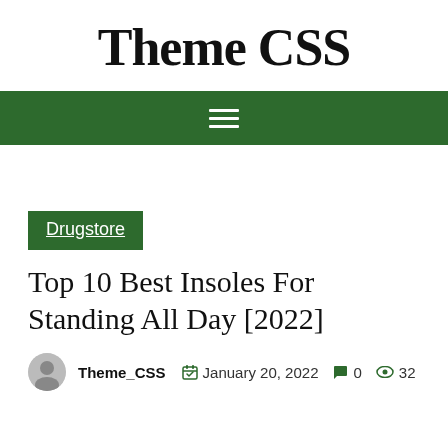Theme CSS
[Figure (other): Green navigation bar with hamburger menu icon (three white horizontal lines)]
Drugstore
Top 10 Best Insoles For Standing All Day [2022]
Theme_CSS  January 20, 2022  0  32